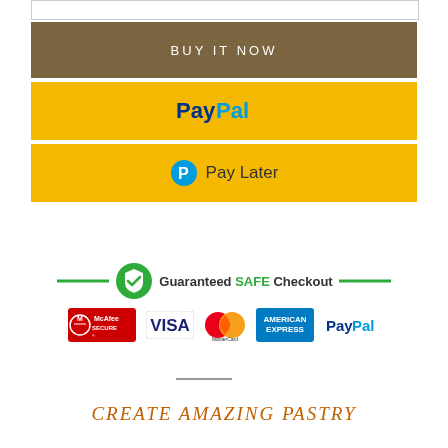[Figure (other): BUY IT NOW button - dark tan/olive colored button with white uppercase text]
[Figure (other): PayPal checkout button - yellow background with PayPal logo in blue text]
[Figure (other): Pay Later button - yellow background with PayPal P icon and Pay Later text]
[Figure (other): Guaranteed SAFE Checkout banner with green shield icon, decorative lines, and payment logos: McAfee SECURE, VISA, MasterCard, American Express, PayPal]
CREATE AMAZING PASTRY